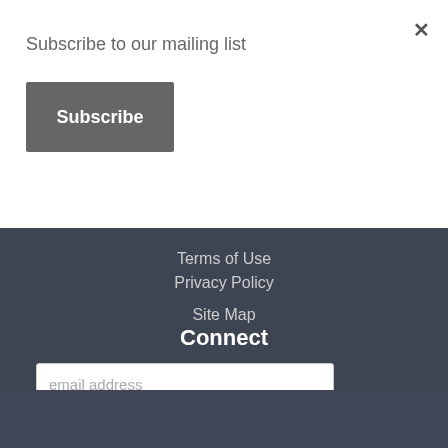×
Subscribe to our mailing list
Subscribe
Terms of Use
Privacy Policy
Site Map
Connect
email address
Subscribe
Festival